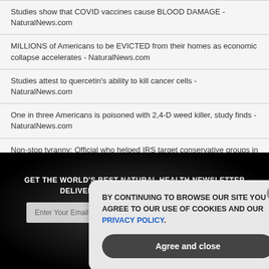Studies show that COVID vaccines cause BLOOD DAMAGE - NaturalNews.com
MILLIONS of Americans to be EVICTED from their homes as economic collapse accelerates - NaturalNews.com
Studies attest to quercetin’s ability to kill cancer cells - NaturalNews.com
One in three Americans is poisoned with 2,4-D weed killer, study finds - NaturalNews.com
Non-stop tyranny: Official who helped IRS target conservative groups in 2012 to head up office for army of new agents - NaturalNews.com
GET THE WORLD'S BEST NATURAL HEALTH NEWSLETTER DELIVERED STRAIGHT TO YOUR INBOX
Enter Your Email Address
SUBSCRIBE
BY CONTINUING TO BROWSE OUR SITE YOU AGREE TO OUR USE OF COOKIES AND OUR PRIVACY POLICY.
Agree and close